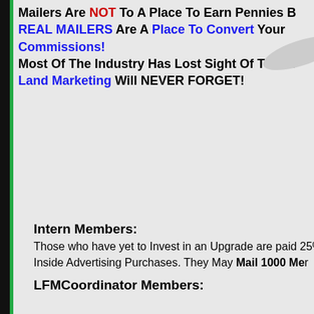Mailers Are NOT To A Place To Earn Pennies B... REAL MAILERS Are A Place To Convert Your Commissions! Most Of The Industry Has Lost Sight Of That C... Land Marketing Will NEVER FORGET!
[Figure (illustration): Partial swoosh or arrow graphic in gray, visible at top right corner]
Intern Members:
Those who have yet to Invest in an Upgrade are paid 25%... Inside Advertising Purchases. They May Mail 1000 Me...
LFMCoordinator Members: